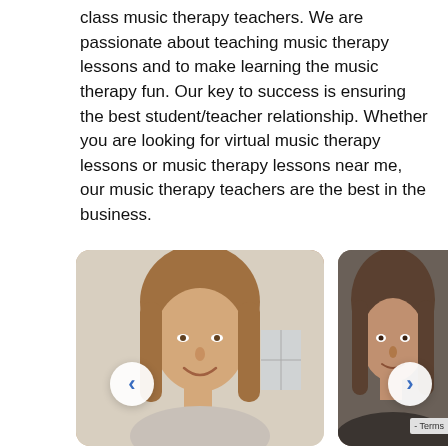class music therapy teachers. We are passionate about teaching music therapy lessons and to make learning the music therapy fun. Our key to success is ensuring the best student/teacher relationship. Whether you are looking for virtual music therapy lessons or music therapy lessons near me, our music therapy teachers are the best in the business.
[Figure (photo): Two side-by-side photos of female music therapy teachers shown from the shoulders up, with navigation arrow buttons overlaid (left chevron on left photo, right chevron on right photo).]